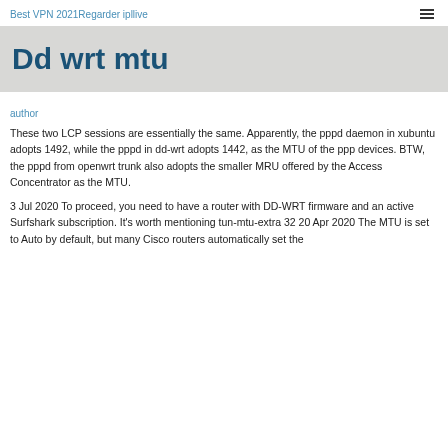Best VPN 2021Regarder ipllive
Dd wrt mtu
author
These two LCP sessions are essentially the same. Apparently, the pppd daemon in xubuntu adopts 1492, while the pppd in dd-wrt adopts 1442, as the MTU of the ppp devices. BTW, the pppd from openwrt trunk also adopts the smaller MRU offered by the Access Concentrator as the MTU.
3 Jul 2020 To proceed, you need to have a router with DD-WRT firmware and an active Surfshark subscription. It's worth mentioning tun-mtu-extra 32 20 Apr 2020 The MTU is set to Auto by default, but many Cisco routers automatically set the